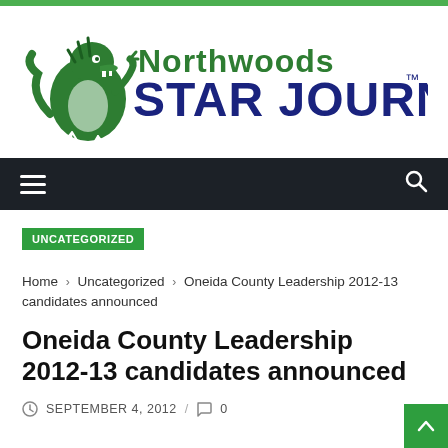[Figure (logo): Northwoods Star Journal newspaper logo with green dragon mascot, green 'Northwoods' text and dark blue 'STAR JOURNAL' text with TM mark]
[Figure (other): Dark navigation bar with hamburger menu icon on left and search icon on right]
UNCATEGORIZED
Home › Uncategorized › Oneida County Leadership 2012-13 candidates announced
Oneida County Leadership 2012-13 candidates announced
SEPTEMBER 4, 2012 / 0